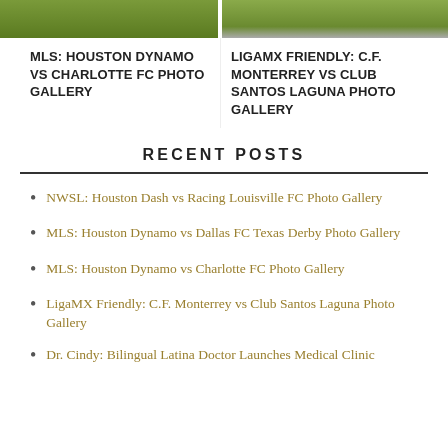[Figure (photo): Green sports field photo thumbnail (left)]
[Figure (photo): Green sports field photo thumbnail with player (right)]
MLS: HOUSTON DYNAMO VS CHARLOTTE FC PHOTO GALLERY
LIGAMX FRIENDLY: C.F. MONTERREY VS CLUB SANTOS LAGUNA PHOTO GALLERY
RECENT POSTS
NWSL: Houston Dash vs Racing Louisville FC Photo Gallery
MLS: Houston Dynamo vs Dallas FC Texas Derby Photo Gallery
MLS: Houston Dynamo vs Charlotte FC Photo Gallery
LigaMX Friendly: C.F. Monterrey vs Club Santos Laguna Photo Gallery
Dr. Cindy: Bilingual Latina Doctor Launches Medical Clinic